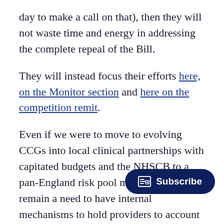day to make a call on that), then they will not waste time and energy in addressing the complete repeal of the Bill.
They will instead focus their efforts here, on the Monitor section and here on the competition remit.
Even if we were to move to evolving CCGs into local clinical partnerships with capitated budgets and the NHSCB to a pan-England risk pool manager, there will remain a need to have internal mechanisms to hold providers to account for their safety, quality, outcomes and activity.
Of course, we have no evidence th Commissioning Board will be hands-off, nationally, regionally or locally. (The DH, SHAs and PCTs